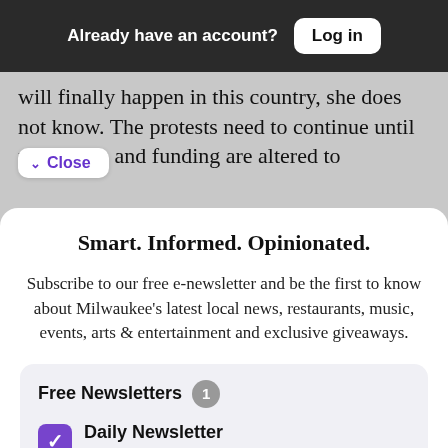Already have an account? Log in
will finally happen in this country, she does not know. The protests need to continue until nt policies and funding are altered to
Close
Smart. Informed. Opinionated.
Subscribe to our free e-newsletter and be the first to know about Milwaukee's latest local news, restaurants, music, events, arts & entertainment and exclusive giveaways.
Free Newsletters 1
Daily Newsletter
Get the latest news from Shepherd Express delivered directly to your inbox